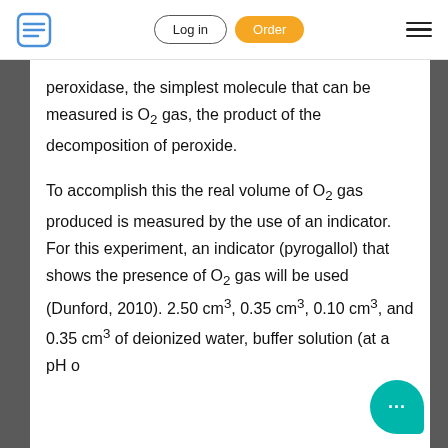Log in | Order
peroxidase, the simplest molecule that can be measured is O2 gas, the product of the decomposition of peroxide.
To accomplish this the real volume of O2 gas produced is measured by the use of an indicator. For this experiment, an indicator (pyrogallol) that shows the presence of O2 gas will be used (Dunford, 2010). 2.50 cm3, 0.35 cm3, 0.10 cm3, and 0.35 cm3 of deionized water, buffer solution (at a pH o